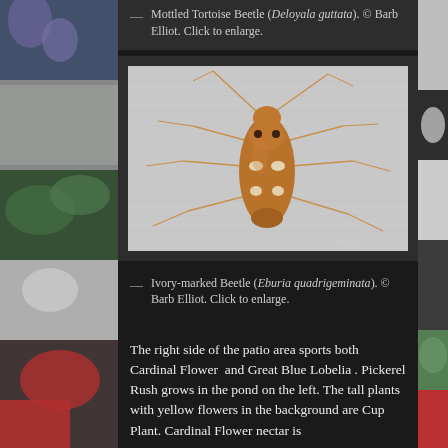— Mottled Tortoise Beetle (Deloyala guttata). © Barb Elliot. Click to enlarge.
[Figure (photo): Ivory-marked Beetle (Eburia quadrigeminata) photographed on a light grey fabric background, showing tan/brown coloring with ivory spots, long antennae, and six legs extended. © Barb Elliot watermark visible in lower right.]
— Ivory-marked Beetle (Eburia quadrigeminata). © Barb Elliot. Click to enlarge.
The right side of the patio area sports both Cardinal Flower  and Great Blue Lobelia . Pickerel Rush grows in the pond on the left. The tall plants with yellow flowers in the background are Cup Plant. Cardinal Flower nectar is